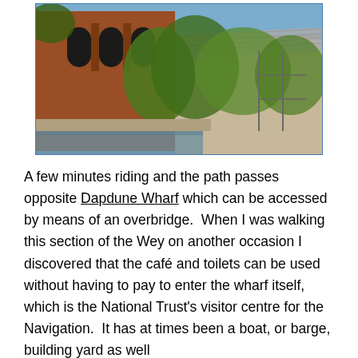[Figure (photo): Photograph of a red brick building with arched windows beside a canal or river, with green ivy and vegetation in the foreground and a metal-roofed structure to the right.]
A few minutes riding and the path passes opposite Dapdune Wharf which can be accessed by means of an overbridge.  When I was walking this section of the Wey on another occasion I discovered that the café and toilets can be used without having to pay to enter the wharf itself, which is the National Trust's visitor centre for the Navigation.  It has at times been a boat, or barge, building yard as well